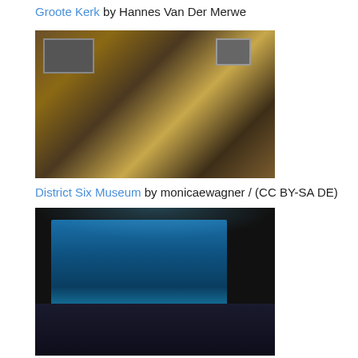Groote Kerk by Hannes Van Der Merwe
[Figure (photo): Interior of District Six Museum showing vintage wooden furniture and framed pictures on wall]
District Six Museum by monicaewagner / (CC BY-SA DE)
[Figure (photo): Two Oceans Aquarium event with large blue screen displaying underwater scene and crowd in dark foreground]
Two Oceans Aquarium by Two Oceans Aquarium / (Rights Reserved)
[Figure (photo): Exterior of District Six Museum building showing neoclassical facade with columns and red roof]
District Six Museum by HelenOnline / (CC BY-SA 4.0)